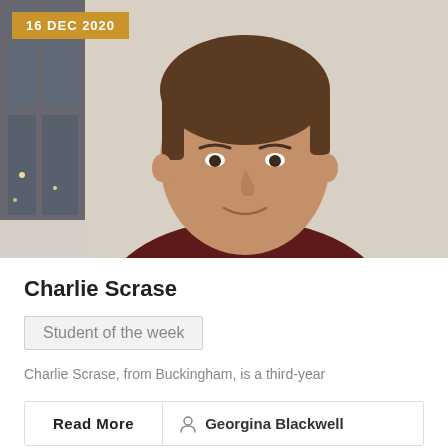[Figure (photo): Portrait photo of a young man with brown hair wearing a dark red sweater, smiling slightly, taken indoors with a light-colored wall in the background.]
16 DEC 2020
Charlie Scrase
Student of the week
Charlie Scrase, from Buckingham, is a third-year
Read More
Georgina Blackwell